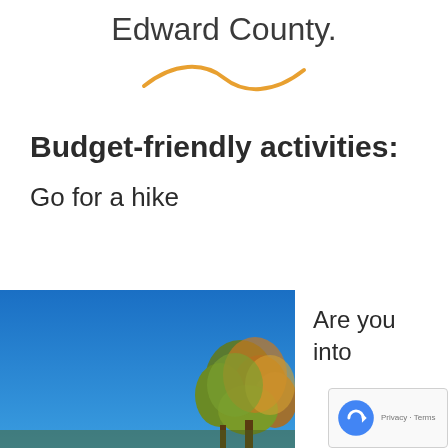Edward County.
[Figure (illustration): Orange wavy squiggle decorative divider line]
Budget-friendly activities:
Go for a hike
[Figure (photo): Outdoor autumn photo showing blue sky and trees with fall foliage]
Are you into